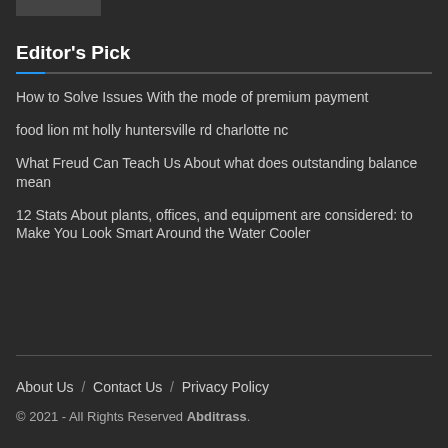[Figure (other): Small image placeholder bar at top]
Editor's Pick
How to Solve Issues With the mode of premium payment
food lion mt holly huntersville rd charlotte nc
What Freud Can Teach Us About what does outstanding balance mean
12 Stats About plants, offices, and equipment are considered: to Make You Look Smart Around the Water Cooler
About Us  /  Contact Us  /  Privacy Policy
© 2021 - All Rights Reserved Abditrass.